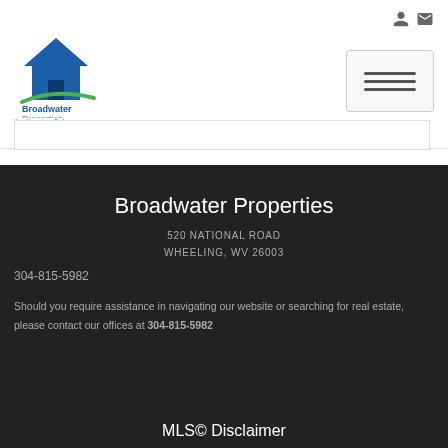[Figure (logo): Broadwater Properties logo — blue house icon with green swoosh and company name text below]
Broadwater Properties
520 NATIONAL ROAD
WHEELING, WV 26003
304-815-5982
Should you require assistance in navigating our website or searching for real estate, please contact our offices at 304-815-5982
MLS© Disclaimer